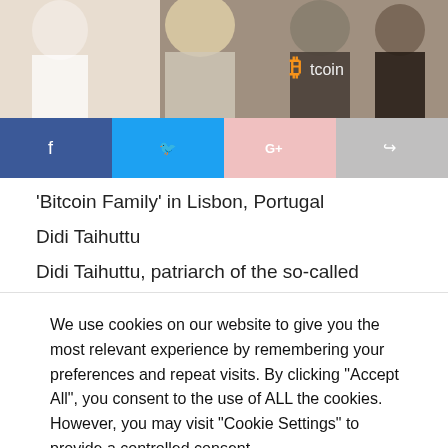[Figure (photo): Group photo of the Bitcoin Family in Lisbon, Portugal — several people including adults and children, one wearing a Bitcoin logo shirt]
[Figure (infographic): Social sharing buttons: Facebook (blue), Twitter (light blue), Google+ (pink), Share (gray)]
‘Bitcoin Family’ in Lisbon, Portugal
Didi Taihuttu
Didi Taihuttu, patriarch of the so-called ‘Bitcoin Family,’ is
We use cookies on our website to give you the most relevant experience by remembering your preferences and repeat visits. By clicking “Accept All”, you consent to the use of ALL the cookies. However, you may visit "Cookie Settings" to provide a controlled consent.